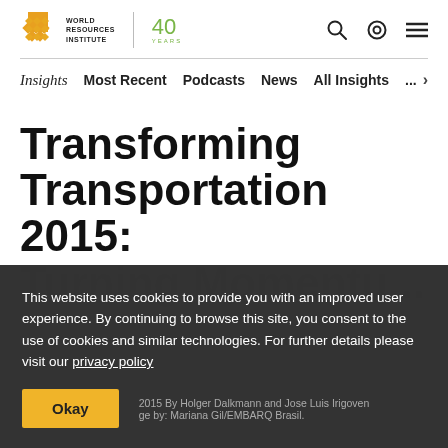World Resources Institute 40 Years
Insights | Most Recent | Podcasts | News | All Insights | ...
Transforming Transportation 2015:
This website uses cookies to provide you with an improved user experience. By continuing to browse this site, you consent to the use of cookies and similar technologies. For further details please visit our privacy policy
Okay
2015 By Holger Dalkmann and Jose Luis Irigoven. Image by: Mariana Gil/EMBARQ Brasil.